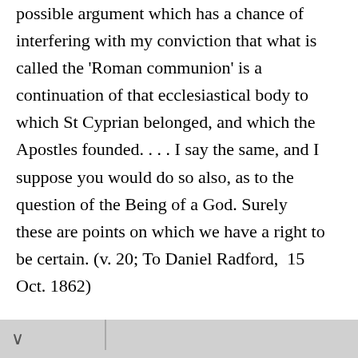possible argument which has a chance of interfering with my conviction that what is called the 'Roman communion' is a continuation of that ecclesiastical body to which St Cyprian belonged, and which the Apostles founded. . . . I say the same, and I suppose you would do so also, as to the question of the Being of a God. Surely these are points on which we have a right to be certain. (v. 20; To Daniel Radford,  15 Oct. 1862)
[T]he doctrine of the necessity of